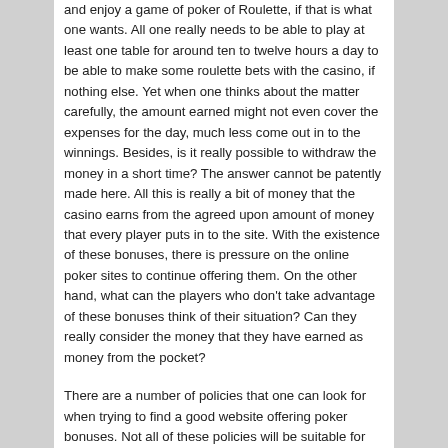and enjoy a game of poker of Roulette, if that is what one wants. All one really needs to be able to play at least one table for around ten to twelve hours a day to be able to make some roulette bets with the casino, if nothing else. Yet when one thinks about the matter carefully, the amount earned might not even cover the expenses for the day, much less come out in to the winnings. Besides, is it really possible to withdraw the money in a short time? The answer cannot be patently made here. All this is really a bit of money that the casino earns from the agreed upon amount of money that every player puts in to the site. With the existence of these bonuses, there is pressure on the online poker sites to continue offering them. On the other hand, what can the players who don't take advantage of these bonuses think of their situation? Can they really consider the money that they have earned as money from the pocket?
There are a number of policies that one can look for when trying to find a good website offering poker bonuses. Not all of these policies will be suitable for every one. A lot ofCredit card numbersreckless players, the policy may not